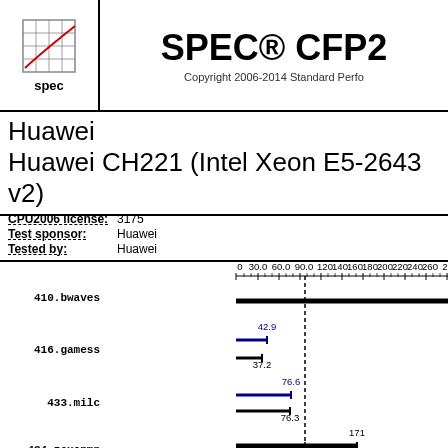SPEC® CFP2006 — Copyright 2006-2014 Standard Performance Evaluation Corporation
Huawei
Huawei CH221 (Intel Xeon E5-2643 v2)
| Field | Value |
| --- | --- |
| CPU2006 license: | 3175 |
| Test sponsor: | Huawei |
| Tested by: | Huawei |
[Figure (bar-chart): SPEC CFP2006 Benchmark Results]